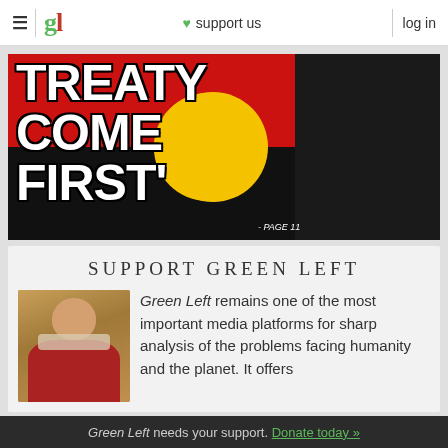≡  gl  ♥ support us  log in
[Figure (photo): Protest sign reading 'TREATY COME FIRST' in large white bold text on a red and yellow (Aboriginal flag colors) background, with a person in black clothing standing to the right with arms crossed. Text at bottom says '- PAGE 11'.]
SUPPORT GREEN LEFT
[Figure (photo): Portrait photo of a man in a red shirt with a scarf, against a wooden background.]
Green Left remains one of the most important media platforms for sharp analysis of the problems facing humanity and the planet. It offers
Green Left needs your support. Donate today »